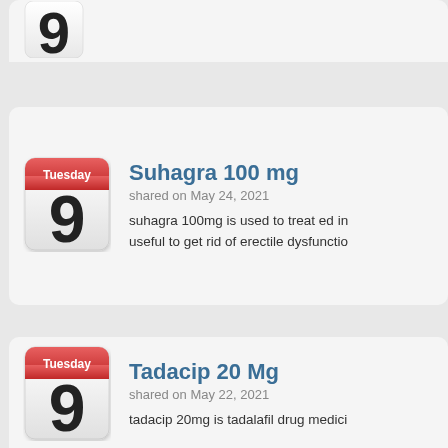[Figure (other): Partially visible calendar icon showing a number (cut off at top of page)]
Suhagra 100 mg
shared on May 24, 2021
suhagra 100mg is used to treat ed in useful to get rid of erectile dysfunctio
Tadacip 20 Mg
shared on May 22, 2021
tadacip 20mg is tadalafil drug medici